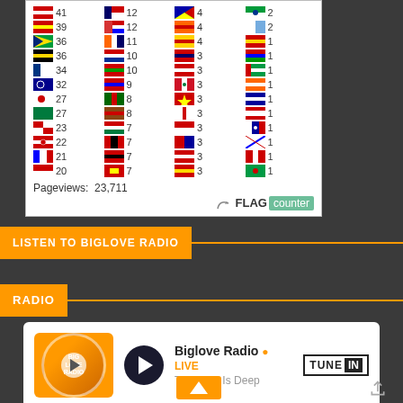[Figure (infographic): Flag counter widget showing country flags with visitor counts. Rows include flags with numbers: 41, 12, 4, 2 / 39, 12, 4, 2 / 36, 11, 4, 1 / 36, 10, 3, 1 / 34, 10, 3, 1 / 32, 9, 3, 1 / 27, 8, 3, 1 / 27, 8, 3, 1 / 23, 7, 3, 1 / 22, 7, 3, 1 / 21, 7, 3, 1 / 20, 7, 3, 1. Pageviews: 23,711. FLAG counter branding.]
LISTEN TO BIGLOVE RADIO
RADIO
[Figure (screenshot): TuneIn radio player widget for Biglove Radio showing LIVE status, play button, station logo, text 'The Love Is Deep', and TuneIn logo.]